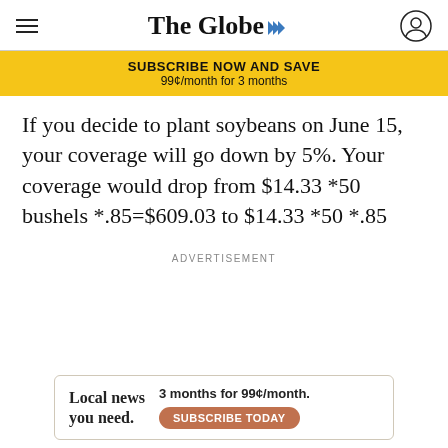The Globe
SUBSCRIBE NOW AND SAVE
99¢/month for 3 months
If you decide to plant soybeans on June 15, your coverage will go down by 5%. Your coverage would drop from $14.33 *50 bushels *.85=$609.03 to $14.33 *50 *.85
ADVERTISEMENT
[Figure (other): Advertisement banner: Local news you need. 3 months for 99¢/month. Subscribe Today button.]